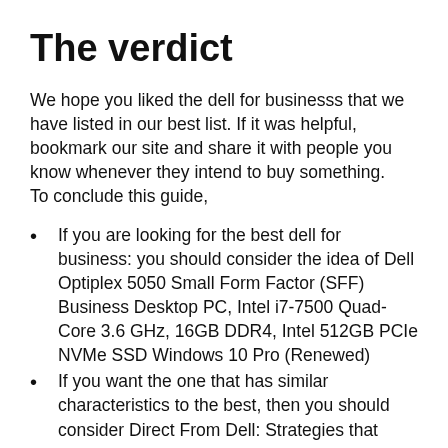The verdict
We hope you liked the dell for businesss that we have listed in our best list. If it was helpful, bookmark our site and share it with people you know whenever they intend to buy something.
To conclude this guide,
If you are looking for the best dell for business: you should consider the idea of Dell Optiplex 5050 Small Form Factor (SFF) Business Desktop PC, Intel i7-7500 Quad-Core 3.6 GHz, 16GB DDR4, Intel 512GB PCIe NVMe SSD Windows 10 Pro (Renewed)
If you want the one that has similar characteristics to the best, then you should consider Direct From Dell: Strategies that